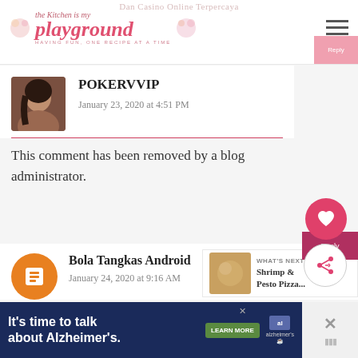Dan Casino Online Terpercaya
[Figure (logo): The Kitchen is my Playground blog logo with cupcake decorations and tagline 'HAVING FUN, ONE RECIPE AT A TIME']
POKERVVIP
January 23, 2020 at 4:51 PM
This comment has been removed by a blog administrator.
Bola Tangkas Android
January 24, 2020 at 9:16 AM
[Figure (infographic): What's Next panel showing Shrimp & Pesto Pizza thumbnail]
[Figure (infographic): Ad banner: It's time to talk about Alzheimer's. LEARN MORE. Alzheimer's Association logo.]